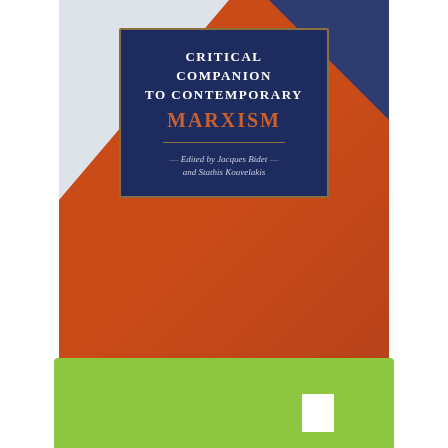[Figure (illustration): Book cover of 'Critical Companion to Contemporary Marxism', edited by Jacques Bidet and Stathis Kouvelakis. Orange/red textured background with abstract geometric shapes in blue and white. A dark navy blue rectangular title box with gold border sits in the upper center, containing the title text in white uppercase letters with 'MARXISM' in orange/red, and editors' names in small italic text.]
[Figure (other): Bright green banner/rectangle at the bottom of the page, partially visible, with what appears to be small text and a white square element.]